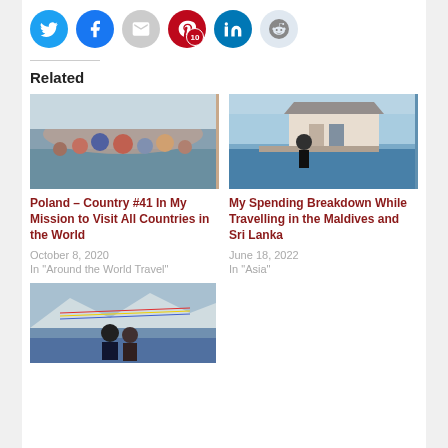[Figure (other): Social sharing icons: Twitter (blue circle), Facebook (blue circle), Email (grey circle), Pinterest (red circle with badge '10'), LinkedIn (dark teal circle), Reddit (light blue circle)]
Related
[Figure (photo): Group photo of people on a boat trip, Poland travel]
Poland – Country #41 In My Mission to Visit All Countries in the World
October 8, 2020
In "Around the World Travel"
[Figure (photo): Man standing on overwater bungalow dock in the Maldives]
My Spending Breakdown While Travelling in the Maldives and Sri Lanka
June 18, 2022
In "Asia"
[Figure (photo): Couple at a mountain pass with prayer flags, likely Tibet or Nepal]